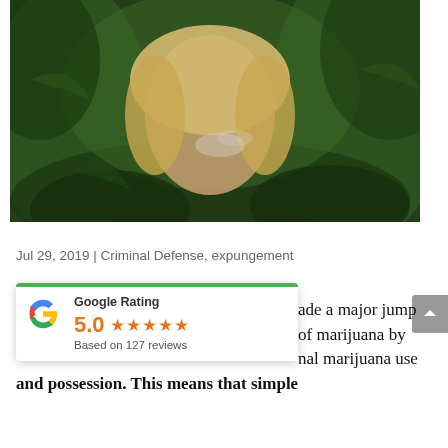[Figure (photo): Woman with blonde hair smoking among cannabis plants, photographed outdoors surrounded by green marijuana plants]
Jul 29, 2019 | Criminal Defense, expungement
[Figure (infographic): Google Rating widget showing 5.0 stars based on 127 reviews, with Google G logo and green top border]
ade a major jump of marijuana by nal marijuana use and possession. This means that simple